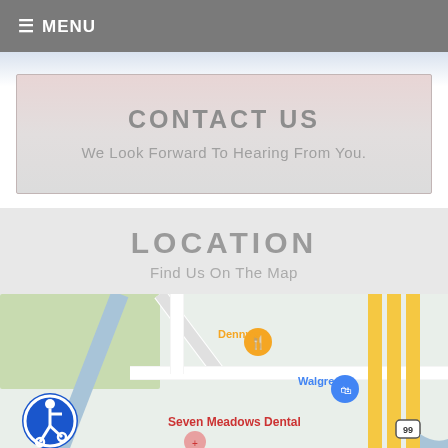≡ MENU
CONTACT US
We Look Forward To Hearing From You.
LOCATION
Find Us On The Map
[Figure (map): Google Maps screenshot showing area with Denny's, Walgreens, Seven Meadows Dental locations, accessible route icon, and highway 99.]